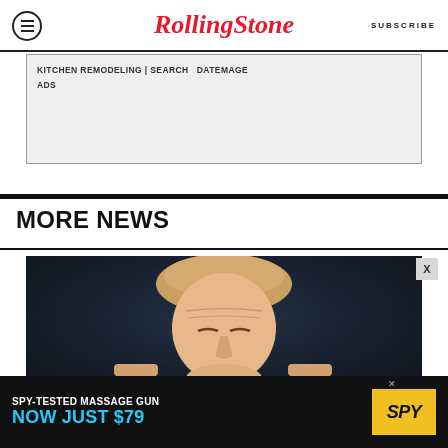Rolling Stone | SUBSCRIBE
[Figure (screenshot): Ad box with text: KITCHEN REMODELING | SEARCH  DATEMAGE ADS on gray background]
MORE NEWS
[Figure (photo): Photo of Donald Trump against dark blue background, shot from below, showing his face and raised fists]
[Figure (infographic): Bottom advertisement banner: SPY-TESTED MASSAGE GUN NOW JUST $79 with SPY logo in yellow]